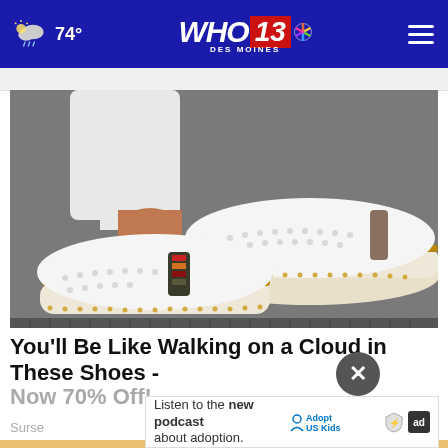74° | WHO 13 DES MOINES NBC
[Figure (photo): Close-up photo of a person wearing white slip-on sneakers with perforated design, striped accent, and espadrille-style sole, standing on a sidewalk/grate.]
You'll Be Like Walking on a Cloud in These Shoes - Now 70% Off!
Surse
Listen to the new podcast about adoption. Adopt US Kids